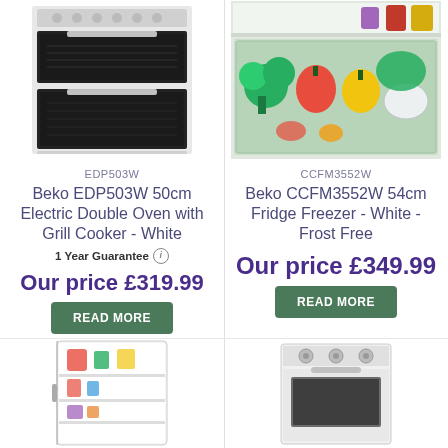[Figure (photo): Beko electric double oven with grill cooker, white, showing two oven compartments with dark interiors]
EDP503W
Beko EDP503W 50cm Electric Double Oven with Grill Cooker - White
1 Year Guarantee (i)
Our price £319.99
READ MORE
[Figure (photo): Beko fridge freezer interior showing crisper drawer with vegetables including broccoli, peppers, onion, and other produce]
CCFM3552W
Beko CCFM3552W 54cm Fridge Freezer - White - Frost Free
Our price £349.99
READ MORE
[Figure (photo): Small under-counter fridge with open door showing interior shelves with food items]
[Figure (photo): White gas or electric cooker/range appliance, partial view from above]